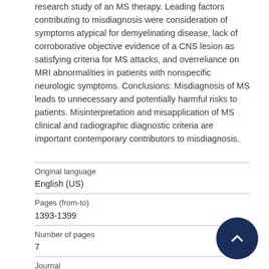research study of an MS therapy. Leading factors contributing to misdiagnosis were consideration of symptoms atypical for demyelinating disease, lack of corroborative objective evidence of a CNS lesion as satisfying criteria for MS attacks, and overreliance on MRI abnormalities in patients with nonspecific neurologic symptoms. Conclusions: Misdiagnosis of MS leads to unnecessary and potentially harmful risks to patients. Misinterpretation and misapplication of MS clinical and radiographic diagnostic criteria are important contemporary contributors to misdiagnosis.
| Original language | English (US) |
| Pages (from-to) | 1393-1399 |
| Number of pages | 7 |
| Journal | Neurology |